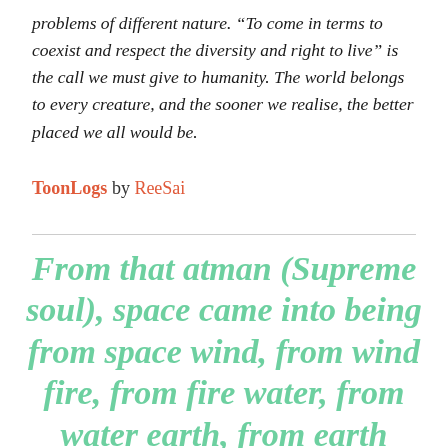problems of different nature. “To come in terms to coexist and respect the diversity and right to live” is the call we must give to humanity. The world belongs to every creature, and the sooner we realise, the better placed we all would be.
ToonLogs by ReeSai
From that atman (Supreme soul), space came into being from space wind, from wind fire, from fire water, from water earth, from earth